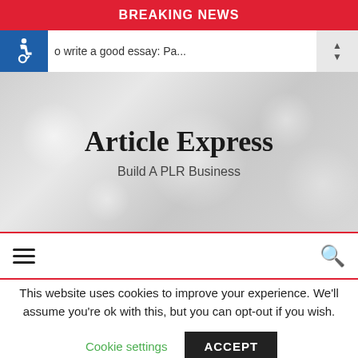BREAKING NEWS
o write a good essay: Pa...
Article Express
Build A PLR Business
≡  🔍
This website uses cookies to improve your experience. We'll assume you're ok with this, but you can opt-out if you wish.
Cookie settings   ACCEPT